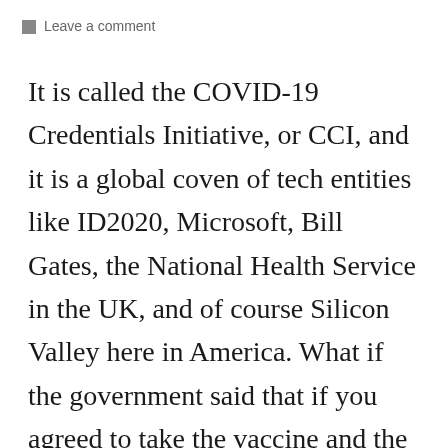Leave a comment
It is called the COVID-19 Credentials Initiative, or CCI, and it is a global coven of tech entities like ID2020, Microsoft, Bill Gates, the National Health Service in the UK, and of course Silicon Valley here in America. What if the government said that if you agreed to take the vaccine and the received the digital immunity passport, all your debt of any kind would be forgiven? Why, there